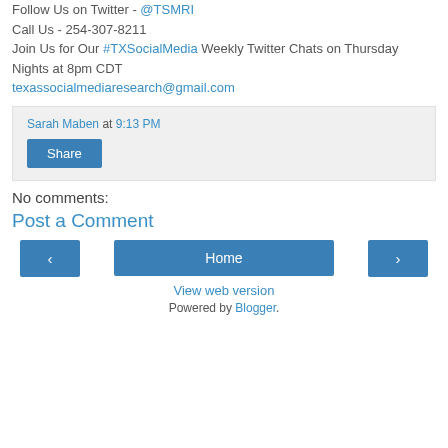Texas Social Media Research Institute Follow Us on Twitter - @TSMRI Call Us - 254-307-8211 Join Us for Our #TXSocialMedia Weekly Twitter Chats on Thursday Nights at 8pm CDT texassocialmediaresearch@gmail.com
Sarah Maben at 9:13 PM
Share
No comments:
Post a Comment
< Home >
View web version
Powered by Blogger.